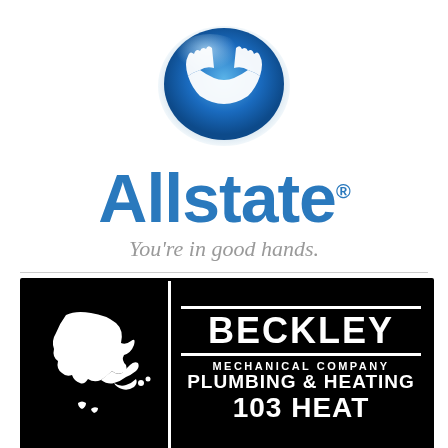[Figure (logo): Allstate Insurance logo: blue metallic hands/sphere icon above the word 'Allstate' in bold blue text with registered trademark symbol, and tagline 'You're in good hands.' in gray italic text]
[Figure (logo): Beckley Mechanical Company logo: black rectangular sign with white Alaska state map silhouette on left, and on the right side 'BECKLEY' in large white bold letters with 'MECHANICAL COMPANY' below and 'PLUMBING & HEATING' and '103 HEAT' below that, separated by horizontal white lines]